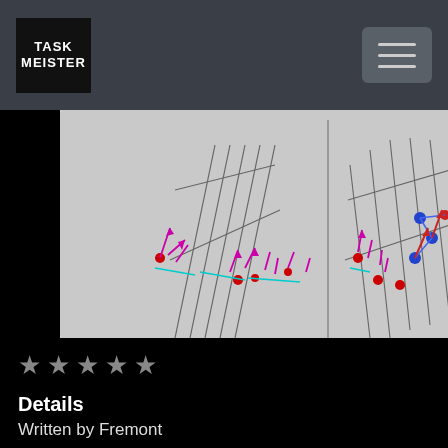TASK MEISTER
[Figure (illustration): 3D diagram showing geometric planes/surfaces with red dots, pink/magenta arrow vectors, cyan lines, and blue dots with connecting lines on a light gray background. Appears to be a physics or wave simulation visualization.]
★★★★★ (5 empty stars)
Details
Written by Fremont
Parent Category: 04 Waves